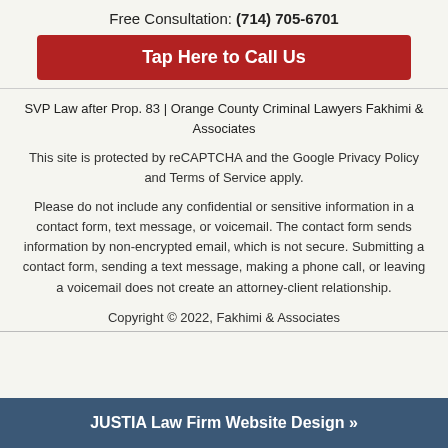Free Consultation: (714) 705-6701
Tap Here to Call Us
SVP Law after Prop. 83 | Orange County Criminal Lawyers Fakhimi & Associates
This site is protected by reCAPTCHA and the Google Privacy Policy and Terms of Service apply.
Please do not include any confidential or sensitive information in a contact form, text message, or voicemail. The contact form sends information by non-encrypted email, which is not secure. Submitting a contact form, sending a text message, making a phone call, or leaving a voicemail does not create an attorney-client relationship.
Copyright © 2022, Fakhimi & Associates
JUSTIA Law Firm Website Design »